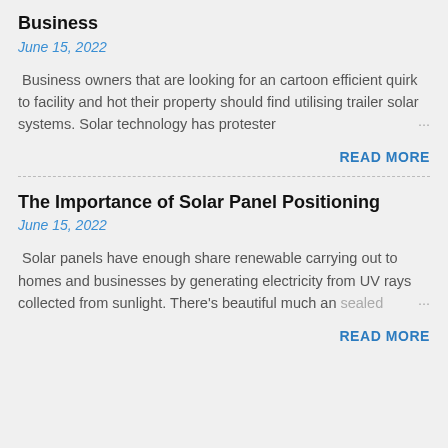Business
June 15, 2022
Business owners that are looking for an cartoon efficient quirk to facility and hot their property should find utilising trailer solar systems. Solar technology has protester …
READ MORE
The Importance of Solar Panel Positioning
June 15, 2022
Solar panels have enough share renewable carrying out to homes and businesses by generating electricity from UV rays collected from sunlight. There's beautiful much an sealed …
READ MORE